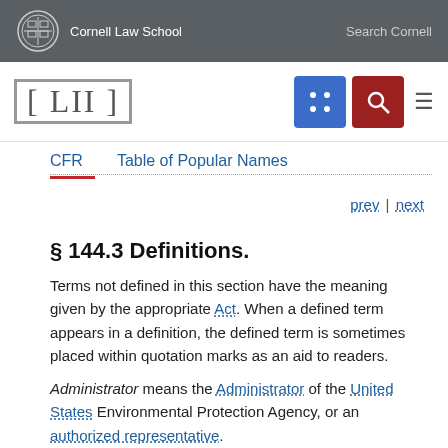Cornell Law School | Search Cornell
[Figure (logo): LII Legal Information Institute logo with nav icons]
CFR | Table of Popular Names
prev | next
§ 144.3 Definitions.
Terms not defined in this section have the meaning given by the appropriate Act. When a defined term appears in a definition, the defined term is sometimes placed within quotation marks as an aid to readers.
Administrator means the Administrator of the United States Environmental Protection Agency, or an authorized representative.